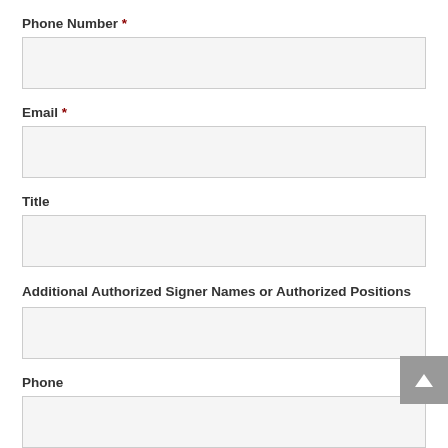Phone Number *
Email *
Title
Additional Authorized Signer Names or Authorized Positions
Phone